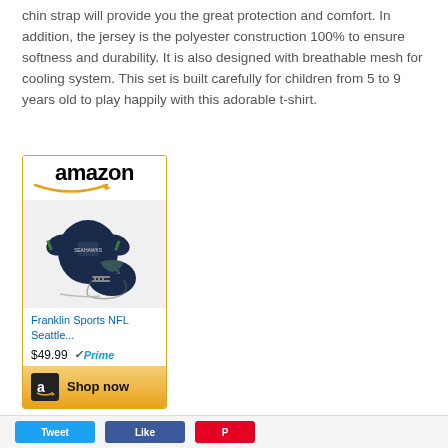chin strap will provide you the great protection and comfort. In addition, the jersey is the polyester construction 100% to ensure softness and durability. It is also designed with breathable mesh for cooling system. This set is built carefully for children from 5 to 9 years old to play happily with this adorable t-shirt.
[Figure (other): Amazon product listing card for Franklin Sports NFL Seattle... priced at $49.99 with Amazon Prime badge and Shop now button. Card shows product image of a dark blue Seahawks jersey and helmet set.]
Tweet | Like | [Pinterest]